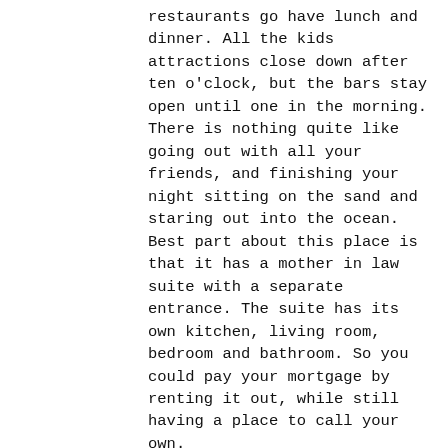restaurants go have lunch and dinner. All the kids attractions close down after ten o'clock, but the bars stay open until one in the morning. There is nothing quite like going out with all your friends, and finishing your night sitting on the sand and staring out into the ocean.
Best part about this place is that it has a mother in law suite with a separate entrance. The suite has its own kitchen, living room, bedroom and bathroom. So you could pay your mortgage by renting it out, while still having a place to call your own.
I really wish I could buy this place myself. The owners are retiring and want to travel. And you won't find anyone else willing to part with a place like this at that price. But I got laid off recently, which put an end to my plans of acquiring this place.
So, take a look: http://www.homeinrehoboth.net
They have lots of photos there.